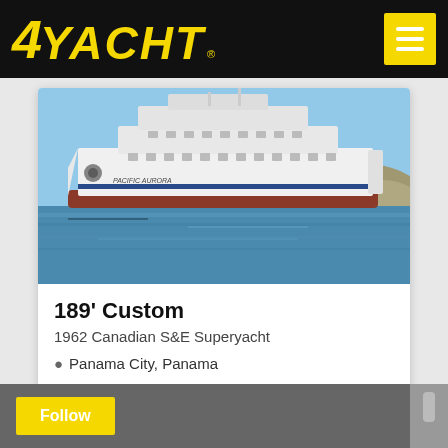4YACHT
[Figure (photo): Large white superyacht named 'Pacific Aurora' photographed on calm blue water with rocky hills in the background. The vessel has a distinctive red/rust hull waterline stripe.]
189' Custom
1962 Canadian S&E Superyacht
Panama City, Panama
3,249,000